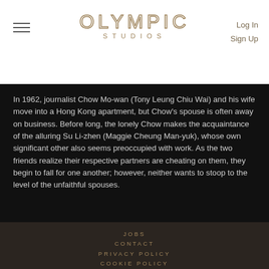OLYMPIC STUDIOS | Log In | Sign Up
In 1962, journalist Chow Mo-wan (Tony Leung Chiu Wai) and his wife move into a Hong Kong apartment, but Chow's spouse is often away on business. Before long, the lonely Chow makes the acquaintance of the alluring Su Li-zhen (Maggie Cheung Man-yuk), whose own significant other also seems preoccupied with work. As the two friends realize their respective partners are cheating on them, they begin to fall for one another; however, neither wants to stoop to the level of the unfaithful spouses.
JOBS
CONTACT
PRIVACY POLICY
COOKIE POLICY
TERMS AND CONDITIONS